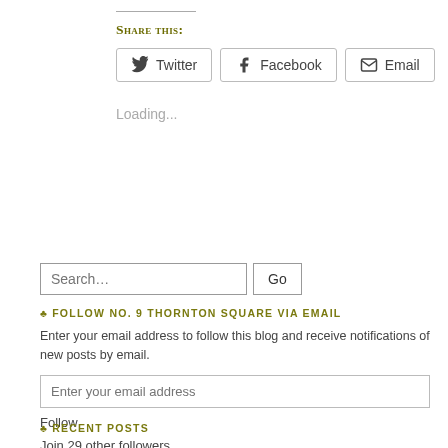Share this:
Twitter  Facebook  Email
Loading...
Search…  Go
♣ FOLLOW NO. 9 THORNTON SQUARE VIA EMAIL
Enter your email address to follow this blog and receive notifications of new posts by email.
Enter your email address
Follow
Join 29 other followers
♣ RECENT POSTS